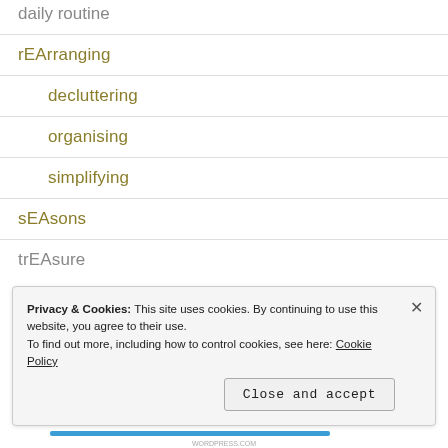daily routine
rEArranging
decluttering
organising
simplifying
sEAsons
trEAsure
Privacy & Cookies: This site uses cookies. By continuing to use this website, you agree to their use. To find out more, including how to control cookies, see here: Cookie Policy
Close and accept